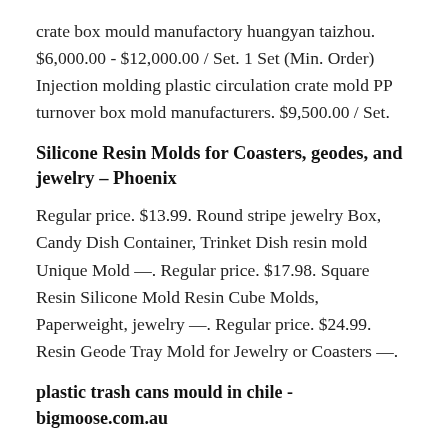crate box mould manufactory huangyan taizhou. $6,000.00 - $12,000.00 / Set. 1 Set (Min. Order) Injection molding plastic circulation crate mold PP turnover box mold manufacturers. $9,500.00 / Set.
Silicone Resin Molds for Coasters, geodes, and jewelry – Phoenix
Regular price. $13.99. Round stripe jewelry Box, Candy Dish Container, Trinket Dish resin mold Unique Mold —. Regular price. $17.98. Square Resin Silicone Mold Resin Cube Molds, Paperweight, jewelry —. Regular price. $24.99. Resin Geode Tray Mold for Jewelry or Coasters —.
plastic trash cans mould in chile - bigmoose.com.au
Taizhou Huangyan Jtp Mould Co.,ltd is known as one of the best China Plastic Garbage bin mould Manufacturers and Plastic Garbage bin mould factory for plastic